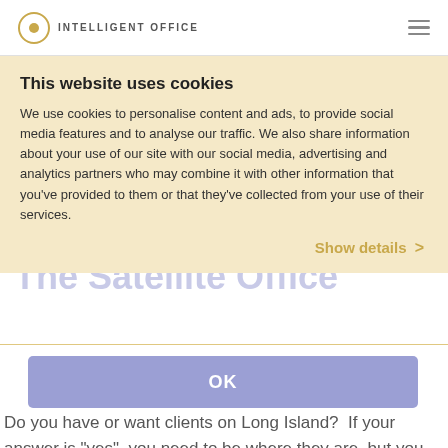INTELLIGENT OFFICE
This website uses cookies
We use cookies to personalise content and ads, to provide social media features and to analyse our traffic. We also share information about your use of our site with our social media, advertising and analytics partners who may combine it with other information that you've provided to them or that they've collected from your use of their services.
Show details >
OK
The Satellite Office
Home > Locations > Melville NY
Do you have or want clients on Long Island?  If your answer is "yes", you need to be where they are, but you